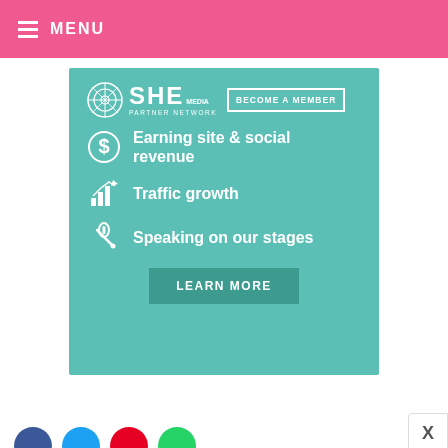MENU
[Figure (infographic): SHE Media Partner Network advertisement banner on teal/green background. Shows SHE Media logo with 'BECOME A MEMBER' button. Lists three benefits with icons: dollar sign icon - 'Earning site & social revenue', bar chart icon - 'Traffic growth', microphone icon - 'Speaking on our stages'. Has a 'LEARN MORE' button at the bottom.]
Don’t be afraid to make some.